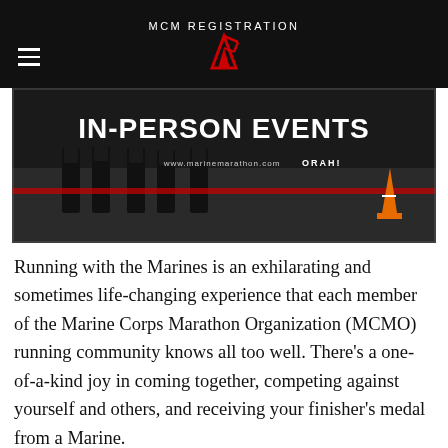MCM REGISTRATION
[Figure (screenshot): Banner image showing military boots on pavement with text 'IN-PERSON EVENTS' and website www.marinemarathon.com with ORAH! text and an orange traffic cone on the right.]
Running with the Marines is an exhilarating and sometimes life-changing experience that each member of the Marine Corps Marathon Organization (MCMO) running community knows all too well. There’s a one-of-a-kind joy in coming together, competing against yourself and others, and receiving your finisher’s medal from a Marine.
And while the global pandemic caused by the coronavirus outbreak put the entire